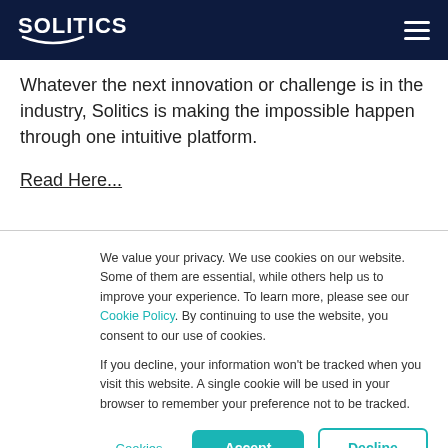SOLITICS
Whatever the next innovation or challenge is in the industry, Solitics is making the impossible happen through one intuitive platform.
Read Here...
We value your privacy. We use cookies on our website. Some of them are essential, while others help us to improve your experience. To learn more, please see our Cookie Policy. By continuing to use the website, you consent to our use of cookies.
If you decline, your information won't be tracked when you visit this website. A single cookie will be used in your browser to remember your preference not to be tracked.
Cookies settings | Accept All | Decline All